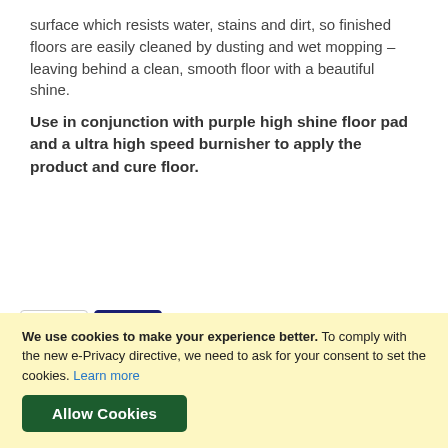surface which resists water, stains and dirt, so finished floors are easily cleaned by dusting and wet mopping – leaving behind a clean, smooth floor with a beautiful shine.
Use in conjunction with purple high shine floor pad and a ultra high speed burnisher to apply the product and cure floor.
[Figure (infographic): Payment method logos: VISA, VISA Electron, JCB, Maestro, MasterCard. Below: 'payments powered by WorldPay' text.]
We use cookies to make your experience better. To comply with the new e-Privacy directive, we need to ask for your consent to set the cookies. Learn more
Allow Cookies